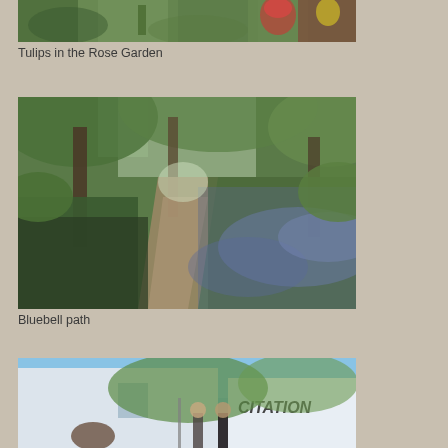[Figure (photo): Partial view of tulips growing in a rose garden with green foliage]
Tulips in the Rose Garden
[Figure (photo): A woodland path with bluebells growing on the hillside beneath trees with fresh spring leaves]
Bluebell path
[Figure (photo): Outdoor scene with white caravans/trailers including one labeled CITATION, with people standing nearby and green hills in background under blue sky]